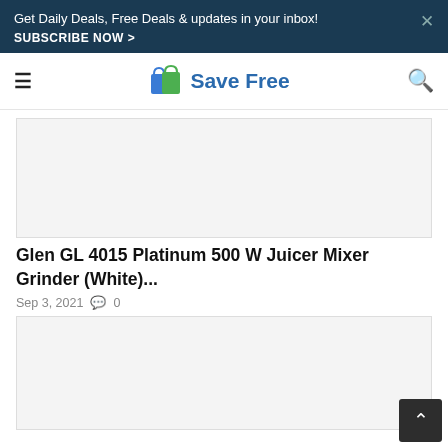Get Daily Deals, Free Deals & updates in your inbox! SUBSCRIBE NOW >
[Figure (logo): Save Free website logo with shopping bag icon and blue text reading 'Save Free']
[Figure (photo): Top image placeholder area (advertisement or product image)]
Glen GL 4015 Platinum 500 W Juicer Mixer Grinder (White)...
Sep 3, 2021  0
[Figure (photo): Bottom image placeholder area (article content image)]